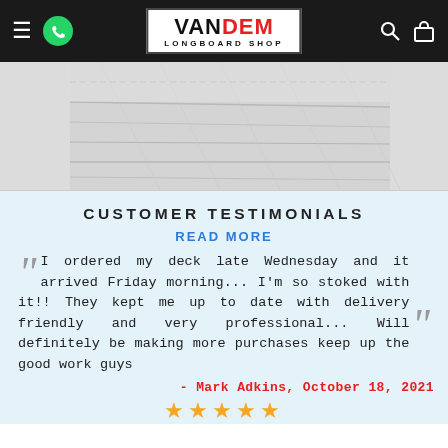VANDEM LONGBOARD SHOP
[Figure (photo): Longboard deck product image, grayscale/washed out close-up photo of wooden longboard deck]
CUSTOMER TESTIMONIALS
READ MORE
I ordered my deck late Wednesday and it arrived Friday morning... I'm so stoked with it!! They kept me up to date with delivery friendly and very professional... Will definitely be making more purchases keep up the good work guys
- Mark Adkins, October 18, 2021
★★★★★